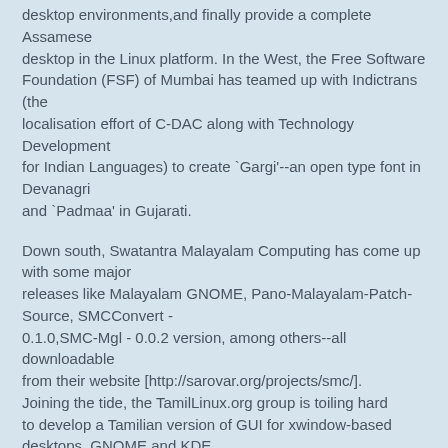desktop environments,and finally provide a complete Assamese desktop in the Linux platform. In the West, the Free Software Foundation (FSF) of Mumbai has teamed up with Indictrans (the localisation effort of C-DAC along with Technology Development for Indian Languages) to create `Gargi'--an open type font in Devanagri and `Padmaa' in Gujarati.
Down south, Swatantra Malayalam Computing has come up with some major releases like Malayalam GNOME, Pano-Malayalam-Patch-Source, SMCConvert - 0.1.0,SMC-Mgl - 0.0.2 version, among others--all downloadable from their website [http://sarovar.org/projects/smc/]. Joining the tide, the TamilLinux.org group is toiling hard to develop a Tamilian version of GUI for xwindow-based desktops, GNOME and KDE.